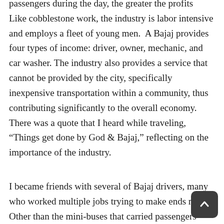passengers during the day, the greater the profits  Like cobblestone work, the industry is labor intensive and employs a fleet of young men.  A Bajaj provides four types of income: driver, owner, mechanic, and car washer. The industry also provides a service that cannot be provided by the city, specifically inexpensive transportation within a community, thus contributing significantly to the overall economy. There was a quote that I heard while traveling, “Things get done by God & Bajaj,” reflecting on the importance of the industry.
I became friends with several of Bajaj drivers, many who worked multiple jobs trying to make ends meet  Other than the mini-buses that carried passengers from one town to another and tourist vehicles, the Bajaj was the main form of transportation apart from going “by foot.” I don’t recall seeing many, if any,